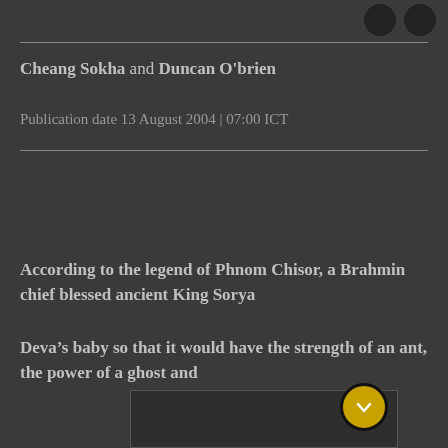Cheang Sokha and Duncan O'brien
Publication date 13 August 2004 | 07:00 ICT
According to the legend of Phnom Chisor, a Brahmin chief blessed ancient King Sorya
Deva’s baby so that it would have the strength of an ant, the power of a ghost and
[Figure (photo): Partially visible image area at the bottom of the page, dark background]